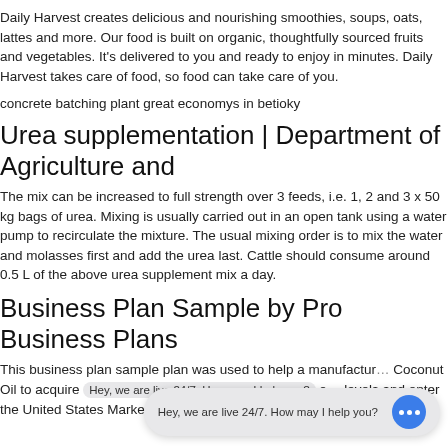Daily Harvest creates delicious and nourishing smoothies, soups, oats, lattes and more. Our food is built on organic, thoughtfully sourced fruits and vegetables. It's delivered to you and ready to enjoy in minutes. Daily Harvest takes care of food, so food can take care of you.
concrete batching plant great economys in betioky
Urea supplementation | Department of Agriculture and
The mix can be increased to full strength over 3 feeds, i.e. 1, 2 and 3 x 50 kg bags of urea. Mixing is usually carried out in an open tank using a water pump to recirculate the mixture. The usual mixing order is to mix the water and molasses first and add the urea last. Cattle should consume around 0.5 L of the above urea supplement mix a day.
Business Plan Sample by Pro Business Plans
This business plan sample plan was used to help a manufacturer Coconut Oil to acquire funding levels and enter the United States Market. Pro Business Plans helped